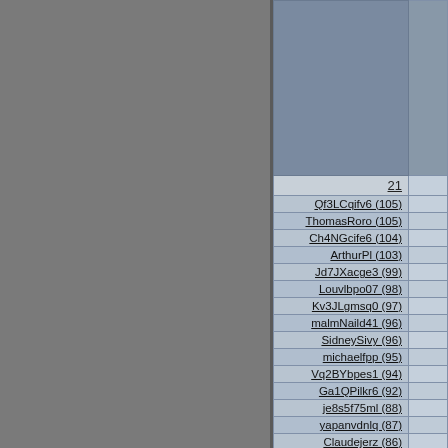| Name (Score) |  |
| --- | --- |
| 21 |  |
| Qf3LCqifv6 (105) |  |
| ThomasRoro (105) |  |
| Ch4NGcife6 (104) |  |
| ArthurPl (103) |  |
| Jd7JXacge3 (99) |  |
| Louvlbpo07 (98) |  |
| Kv3JLgmsq0 (97) |  |
| malmNaild41 (96) |  |
| SidneySivy (96) |  |
| michaelfpp (95) |  |
| Vq2BYbpes1 (94) |  |
| Ga1QPilkr6 (92) |  |
| je8s5f75ml (88) |  |
| yapanvdnlq (87) |  |
| Claudejerz (86) |  |
| pasyaerppv (86) |  |
| undervrn_ (86) |  |
| Dh5GJhuwu4 (84) |  |
| ouqoceogi (80) |  |
| brergodef (79) |  |